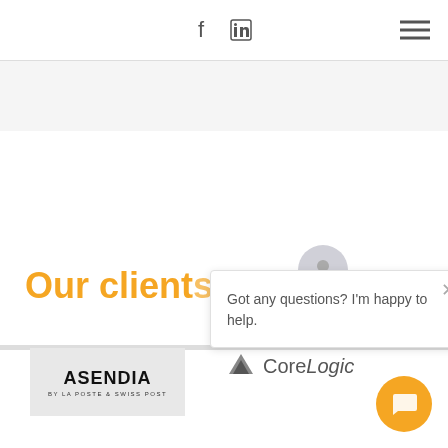[Figure (screenshot): Website screenshot showing navigation bar with Facebook and LinkedIn icons and hamburger menu, gray section, 'Our clients' orange heading, Asendia logo, CoreLogic logo, and a chat popup saying 'Got any questions? I'm happy to help.']